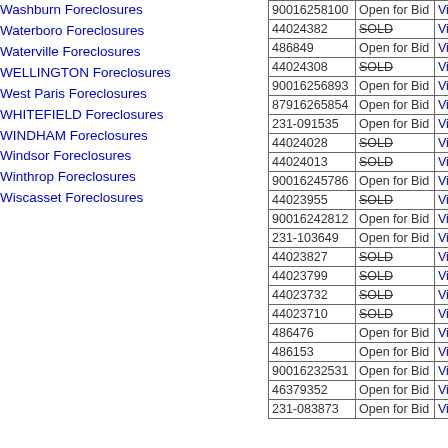Washburn Foreclosures
Waterboro Foreclosures
Waterville Foreclosures
WELLINGTON Foreclosures
West Paris Foreclosures
WHITEFIELD Foreclosures
WINDHAM Foreclosures
Windsor Foreclosures
Winthrop Foreclosures
Wiscasset Foreclosures
| ID | Status |  |
| --- | --- | --- |
| 90016258100 | Open for Bid | View |
| 44024382 | SOLD | View |
| 486849 | Open for Bid | View |
| 44024308 | SOLD | View |
| 90016256893 | Open for Bid | View |
| 87916265854 | Open for Bid | View |
| 231-091535 | Open for Bid | View |
| 44024028 | SOLD | View |
| 44024013 | SOLD | View |
| 90016245786 | Open for Bid | View |
| 44023955 | SOLD | View |
| 90016242812 | Open for Bid | View |
| 231-103649 | Open for Bid | View |
| 44023827 | SOLD | View |
| 44023799 | SOLD | View |
| 44023732 | SOLD | View |
| 44023710 | SOLD | View |
| 486476 | Open for Bid | View |
| 486153 | Open for Bid | View |
| 90016232531 | Open for Bid | View |
| 46379352 | Open for Bid | View |
| 231-083873 | Open for Bid | View |